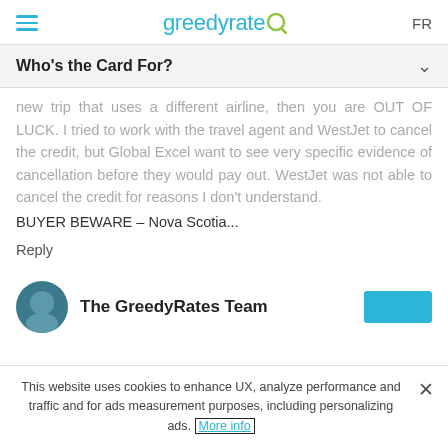GreedyRates FR
Who's the Card For?
new trip that uses a different airline, then you are OUT OF LUCK. I tried to work with the travel agent and WestJet to cancel the credit, but Global Excel want to see very specific evidence of cancellation before they would pay out. WestJet was not able to cancel the credit for reasons I don't understand. BUYER BEWARE – Nova Scotia...
Reply
The GreedyRates Team
This website uses cookies to enhance UX, analyze performance and traffic and for ads measurement purposes, including personalizing ads. More info